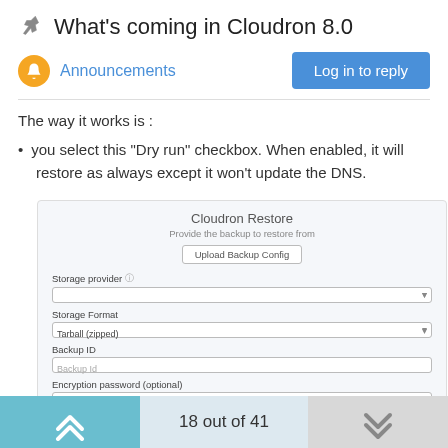What's coming in Cloudron 8.0
Announcements
Log in to reply
The way it works is :
you select this "Dry run" checkbox. When enabled, it will restore as always except it won't update the DNS.
[Figure (screenshot): Cloudron Restore UI screenshot showing fields: Storage provider, Storage Format (Tarball (zipped)), Backup ID, Encryption password (optional), and a Dry run checkbox with description text. Advanced settings link at bottom.]
18 out of 41